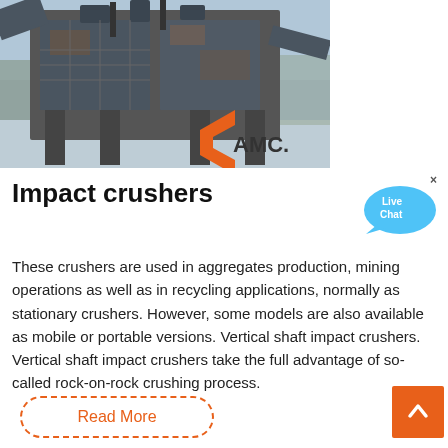[Figure (photo): Industrial impact crusher machine photographed outdoors in winter, large metal machinery on a gravel site. AMC logo overlay in orange and dark blue visible in lower right of photo.]
Impact crushers
These crushers are used in aggregates production, mining operations as well as in recycling applications, normally as stationary crushers. However, some models are also available as mobile or portable versions. Vertical shaft impact crushers. Vertical shaft impact crushers take the full advantage of so-called rock-on-rock crushing process.
Read More